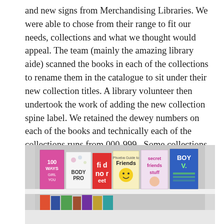and new signs from Merchandising Libraries. We were able to chose from their range to fit our needs, collections and what we thought would appeal. The team (mainly the amazing library aide) scanned the books in each of the collections to rename them in the catalogue to sit under their new collection titles. A library volunteer then undertook the work of adding the new collection spine label. We retained the dewey numbers on each of the books and technically each of the collections runs from 000-999.  Some collections have a big range (Mind, Body and Soul runs from the 200s to the 790s) while others only have a select range (Science is pretty much only the 500s).
[Figure (photo): A bookshelf displaying various books facing outward, including titles such as '100 Ways', 'Body Pro', 'Friends', 'Secret Friends Stuff', and 'Boy V.' visible on the spines and covers. The shelf appears to be in a library setting.]